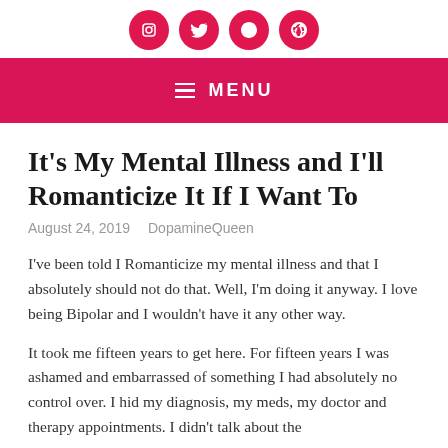[Social media icons: Instagram, Twitter, Pinterest, Facebook]
MENU
It's My Mental Illness and I'll Romanticize It If I Want To
August 24, 2019   DopamineQueen
I've been told I Romanticize my mental illness and that I absolutely should not do that. Well, I'm doing it anyway. I love being Bipolar and I wouldn't have it any other way.
It took me fifteen years to get here. For fifteen years I was ashamed and embarrassed of something I had absolutely no control over. I hid my diagnosis, my meds, my doctor and therapy appointments. I didn't talk about the